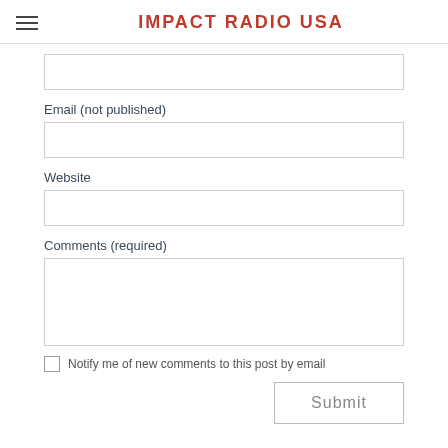IMPACT RADIO USA
Email (not published)
Website
Comments (required)
Notify me of new comments to this post by email
Submit